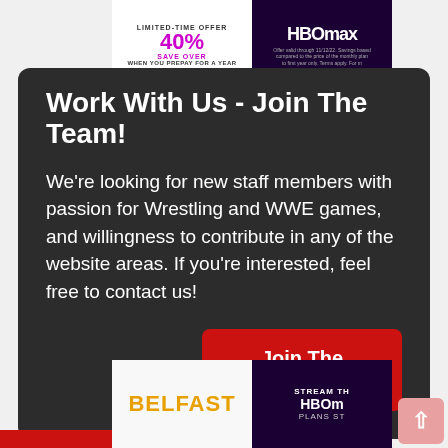[Figure (screenshot): HBO Max advertisement banner - LIMITED-TIME OFFER SAVE OVER 40% WHEN YOU PREPAY FOR A YEAR, with HBO max logo on dark purple background]
Work With Us - Join The Team!
We're looking for new staff members with passion for Wrestling and WWE games, and willingness to contribute in any of the website areas. If you're interested, feel free to contact us!
[Figure (screenshot): Join The Team button - red rounded rectangle button with white text]
[Figure (screenshot): Bottom advertisement banners - BELFAST text in orange on white background, and STREAM THE HBOMAX PLANS ST... on dark purple background]
[Figure (screenshot): Back to top button - pink rounded square with upward arrow]